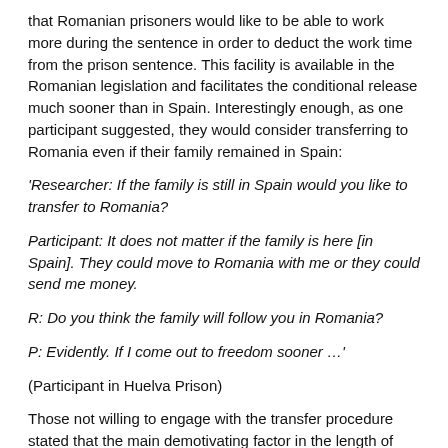that Romanian prisoners would like to be able to work more during the sentence in order to deduct the work time from the prison sentence. This facility is available in the Romanian legislation and facilitates the conditional release much sooner than in Spain. Interestingly enough, as one participant suggested, they would consider transferring to Romania even if their family remained in Spain:
‘Researcher: If the family is still in Spain would you like to transfer to Romania?

Participant: It does not matter if the family is here [in Spain]. They could move to Romania with me or they could send me money.

R: Do you think the family will follow you in Romania?

P: Evidently. If I come out to freedom sooner …’
(Participant in Huelva Prison)
Those not willing to engage with the transfer procedure stated that the main demotivating factor in the length of time required for the